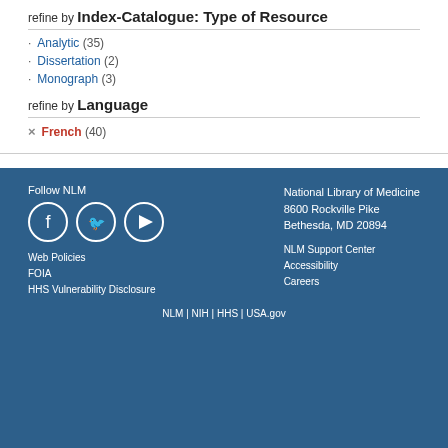refine by Index-Catalogue: Type of Resource
Analytic (35)
Dissertation (2)
Monograph (3)
refine by Language
French (40)
Follow NLM
Web Policies
FOIA
HHS Vulnerability Disclosure
National Library of Medicine
8600 Rockville Pike
Bethesda, MD 20894
NLM Support Center
Accessibility
Careers
NLM | NIH | HHS | USA.gov